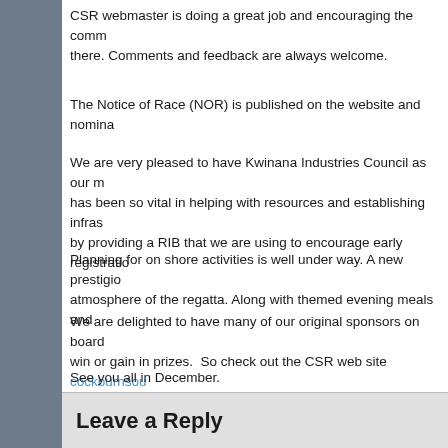CSR webmaster is doing a great job and encouraging the comm... there. Comments and feedback are always welcome.
The Notice of Race (NOR) is published on the website and nomina...
We are very pleased to have Kwinana Industries Council as our m... has been so vital in helping with resources and establishing infras... by providing a RIB that we are using to encourage early registratio...
Planning for on shore activities is well under way. A new prestigio... atmosphere of the regatta. Along with themed evening meals and ...
We are delighted to have many of our original sponsors on board... win or gain in prizes.  So check out the CSR web site cockburnsou...
See you all in December.
Cockburn Sound Regatta Committee – Serious Sailors having Ser...
This entry was posted in News by Simon Torvaldsen. Bookmark...
Leave a Reply